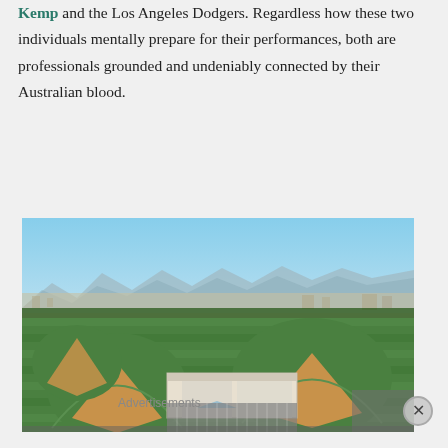Kemp and the Los Angeles Dodgers. Regardless how these two individuals mentally prepare for their performances, both are professionals grounded and undeniably connected by their Australian blood.
[Figure (photo): Aerial photograph of a baseball training complex with multiple diamond fields, green turf, a large facility building, parking lots, and a suburban cityscape with mountains in the background under a clear blue sky.]
Advertisements